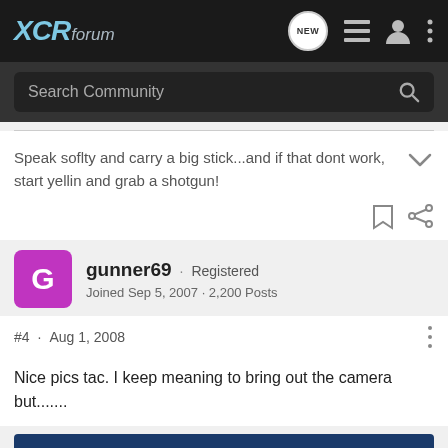XCRforum
Search Community
Speak soflty and carry a big stick...and if that dont work, start yellin and grab a shotgun!
gunner69 · Registered
Joined Sep 5, 2007 · 2,200 Posts
#4 · Aug 1, 2008
Nice pics tac. I keep meaning to bring out the camera but.......
[Figure (illustration): Advertisement banner with text BETTER BUY MORE TARGETS and an image of a firearm on a dark blue background]